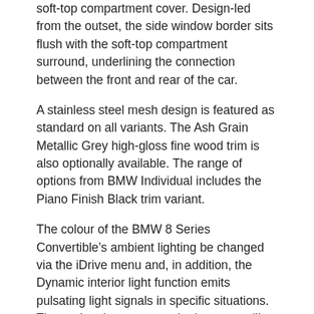soft-top compartment cover. Design-led from the outset, the side window border sits flush with the soft-top compartment surround, underlining the connection between the front and rear of the car.
A stainless steel mesh design is featured as standard on all variants. The Ash Grain Metallic Grey high-gloss fine wood trim is also optionally available. The range of options from BMW Individual includes the Piano Finish Black trim variant.
The colour of the BMW 8 Series Convertible’s ambient lighting be changed via the iDrive menu and, in addition, the Dynamic interior light function emits pulsating light signals in specific situations. These signals appear on the inner panelling of an open door when the engine is running and on the instrument panel in response to an incoming phone call.
Electrically adjustable multifunction seats are fitted as standard in both models and are trimmed in Merino